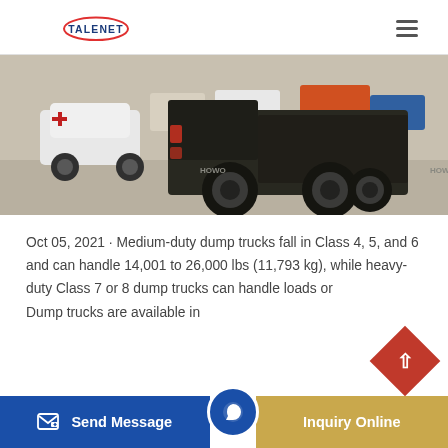TALENET
[Figure (photo): Rear view of a heavy-duty HOWO dump truck (dark colored) in a parking area with other vehicles visible including white SUVs and an orange truck in the background.]
Oct 05, 2021 · Medium-duty dump trucks fall in Class 4, 5, and 6 and can handle 14,001 to 26,000 lbs (11,793 kg), while heavy-duty Class 7 or 8 dump trucks can handle loads or ... Dump trucks are available in
Send Message | Inquiry Online